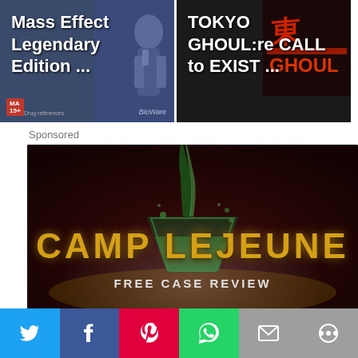[Figure (screenshot): Mass Effect Legendary Edition promotional card — dark blue background with a character figure, MA 15+ rating badge, BioWare logo. Text: 'Mass Effect Legendary Edition ...']
[Figure (screenshot): Tokyo Ghoul:re CALL to EXIST promotional card — dark background with game logo in red/orange. Text: 'TOKYO GHOUL:re CALL to EXIST ...']
Sponsored
[Figure (photo): Camp Lejeune advertisement — dark red/brown background, green liquid being poured into a glass, bold gold text 'CAMP LEJEUNE', white subtext 'FREE CASE REVIEW']
[Figure (infographic): Social sharing bar with Twitter (blue), Facebook (dark blue), Pinterest (red), WhatsApp (green), Email (grey), More (grey) buttons]